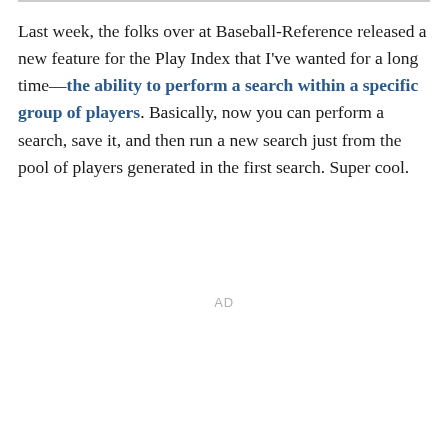Last week, the folks over at Baseball-Reference released a new feature for the Play Index that I've wanted for a long time—the ability to perform a search within a specific group of players. Basically, now you can perform a search, save it, and then run a new search just from the pool of players generated in the first search. Super cool.
AD